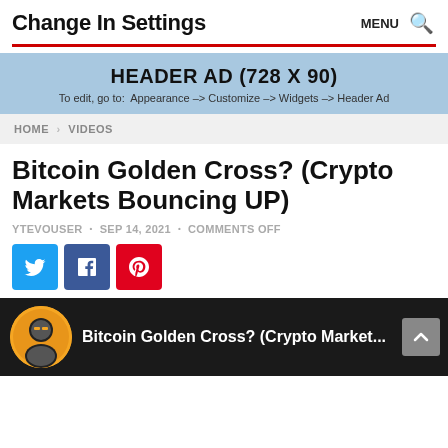Change In Settings  MENU 🔍
[Figure (other): Header ad banner with light blue background. Text: HEADER AD (728 X 90). To edit, go to: Appearance --> Customize --> Widgets --> Header Ad]
HOME > VIDEOS
Bitcoin Golden Cross? (Crypto Markets Bouncing UP)
YTEVOUSER • SEP 14, 2021 • COMMENTS OFF
[Figure (other): Three social media share buttons: Twitter (blue), Facebook (dark blue), Pinterest (red)]
[Figure (screenshot): Video thumbnail with dark background showing a circular orange icon with a masked figure, and text: Bitcoin Golden Cross? (Crypto Market... with a scroll-to-top button on the right]